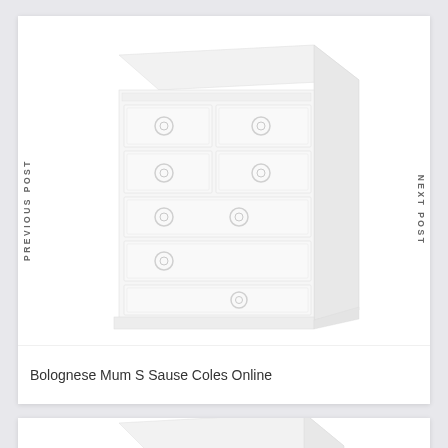[Figure (photo): White chest of drawers with circular ring handles, photographed at an angle against white background. Multiple drawers visible including smaller top drawers and larger bottom drawers.]
PREVIOUS POST
NEXT POST
Bolognese Mum S Sause Coles Online
[Figure (photo): Partial view of another white chest of drawers with circular ring handles, same style as above, cropped at bottom of page.]